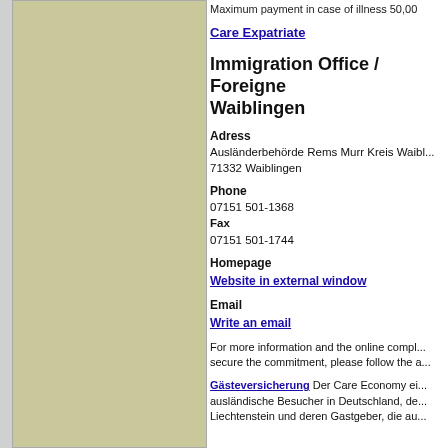Maximum payment in case of illness 50,00
Care Expatriate
Immigration Office / Foreigne... Waiblingen
Adress
Ausländerbehörde Rems Murr Kreis Waibl...
71332 Waiblingen
Phone
07151 501-1368
Fax
07151 501-1744
Homepage
Website in external window
Email
Write an email
For more information and the online compl... secure the commitment, please follow the a...
Gästeversicherung Der Care Economy ei... ausländische Besucher in Deutschland, de... Liechtenstein und deren Gastgeber, die au...